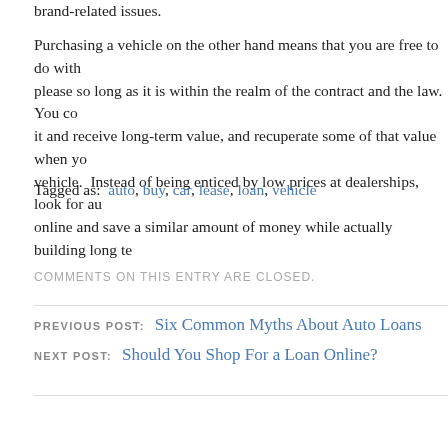brand-related issues.
Purchasing a vehicle on the other hand means that you are free to do with please so long as it is within the realm of the contract and the law.  You co it and receive long-term value, and recuperate some of that value when yo vehicle.  Instead of being enticed by low prices at dealerships, look for au online and save a similar amount of money while actually building long te
Tagged as: auto, buy, car, lease, loan, vehicle
COMMENTS ON THIS ENTRY ARE CLOSED.
PREVIOUS POST: Six Common Myths About Auto Loans
NEXT POST: Should You Shop For a Loan Online?